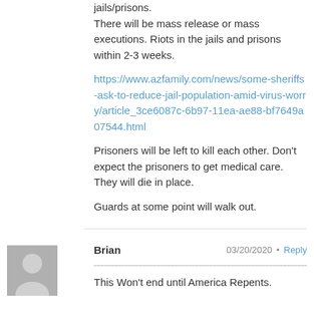jails/prisons. There will be mass release or mass executions. Riots in the jails and prisons within 2-3 weeks.
https://www.azfamily.com/news/some-sheriffs-ask-to-reduce-jail-population-amid-virus-worry/article_3ce6087c-6b97-11ea-ae88-bf7649a07544.html
Prisoners will be left to kill each other. Don't expect the prisoners to get medical care. They will die in place.
Guards at some point will walk out.
[Figure (illustration): Generic gray avatar/profile placeholder icon showing a silhouette of a person]
Brian   03/20/2020 • Reply
This Won't end until America Repents.